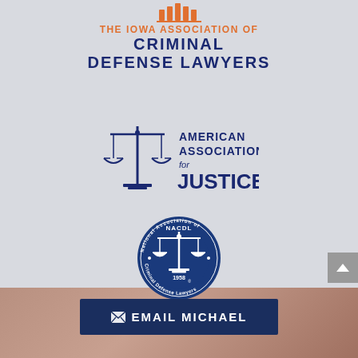[Figure (logo): The Iowa Association of Criminal Defense Lawyers logo with orange columned icon and blue bold text]
[Figure (logo): American Association for Justice logo with balance scales icon and blue text]
[Figure (logo): NACDL National Association of Criminal Defense Lawyers circular seal, blue, founded 1958]
EMAIL MICHAEL